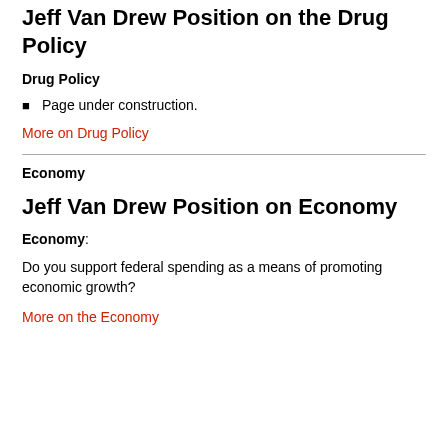Jeff Van Drew Position on the Drug Policy
Drug Policy
Page under construction.
More on Drug Policy
Economy
Jeff Van Drew Position on Economy
Economy:
Do you support federal spending as a means of promoting economic growth?
More on the Economy